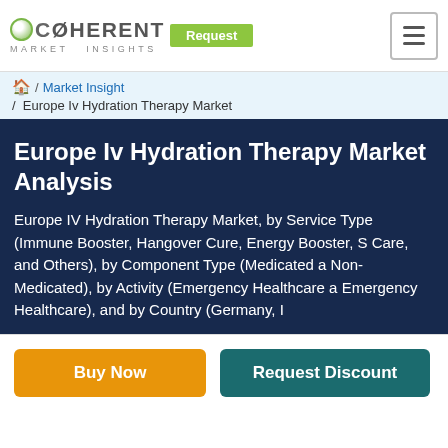Coherent Market Insights — Request
/ Market Insight / Europe Iv Hydration Therapy Market
Europe Iv Hydration Therapy Market Analysis
Europe IV Hydration Therapy Market, by Service Type (Immune Booster, Hangover Cure, Energy Booster, S Care, and Others), by Component Type (Medicated and Non-Medicated), by Activity (Emergency Healthcare and Emergency Healthcare), and by Country (Germany, ...
Buy Now | Request Discount